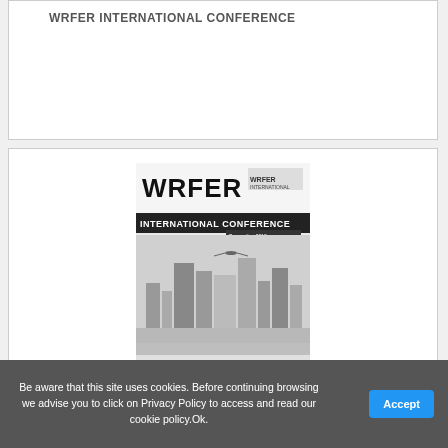WRFER INTERNATIONAL CONFERENCE
[Figure (illustration): WRFER International Conference book/proceedings cover showing city skyline in black and white with conference logo and title text]
Be aware that this site uses cookies. Before continuing browsing we advise you to click on Privacy Policy to access and read our cookie policy.Ok.